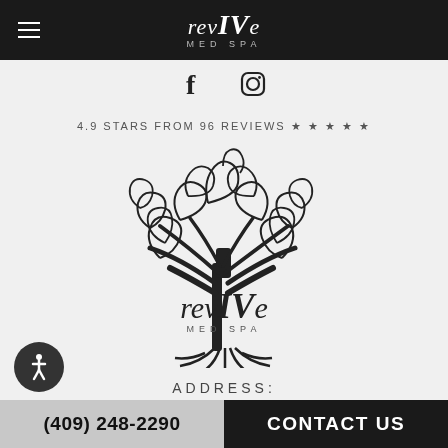revIVe MED SPA
[Figure (logo): Facebook and Instagram social media icons]
4.9 STARS FROM 96 REVIEWS ★ ★ ★ ★ ★
[Figure (logo): revIVe Med Spa logo — decorative tree with curling branches above the text 'revIVe MED SPA' and roots below]
ADDRESS:
(409) 248-2290   CONTACT US